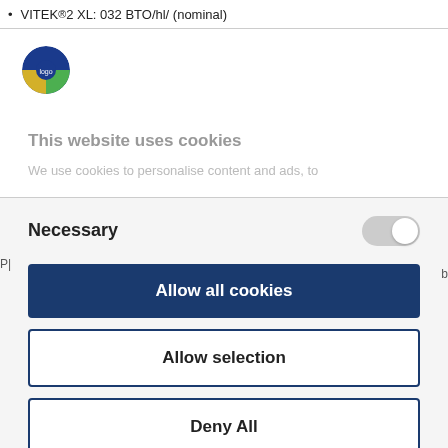VITEK® 2 XL: 032 BTO/hl/ (nominal)
[Figure (logo): Circular logo with blue, green, and yellow sections]
This website uses cookies
We use cookies to personalise content and ads, to
Necessary
Allow all cookies
Allow selection
Deny All
Powered by Cookiebot by Usercentrics